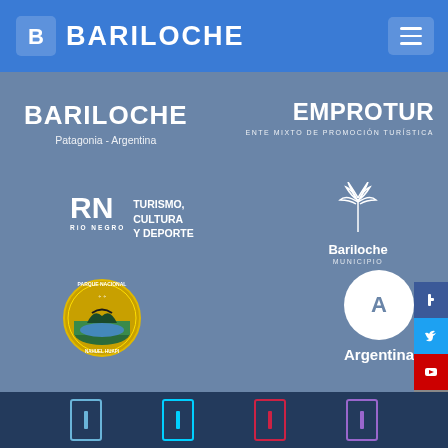[Figure (logo): Bariloche website header with logo and hamburger menu on blue background]
[Figure (logo): Bariloche - Patagonia Argentina logo (white text)]
[Figure (logo): Emprotur - Ente Mixto de Promocion Turistica logo (white text)]
[Figure (logo): RN Rio Negro Turismo, Cultura y Deporte logo]
[Figure (logo): Bariloche Municipio logo with fountain/flower icon]
[Figure (logo): Nahuel Huapi National Park circular badge logo]
[Figure (logo): Argentina tourism logo with circle and A symbol]
[Figure (infographic): Social media sidebar buttons (Facebook, Twitter, YouTube, Instagram) and footer social icons]